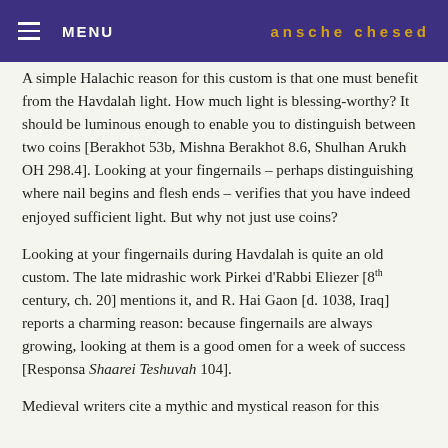MENU   ansche chesed
A simple Halachic reason for this custom is that one must benefit from the Havdalah light. How much light is blessing-worthy? It should be luminous enough to enable you to distinguish between two coins [Berakhot 53b, Mishna Berakhot 8.6, Shulhan Arukh OH 298.4]. Looking at your fingernails – perhaps distinguishing where nail begins and flesh ends – verifies that you have indeed enjoyed sufficient light. But why not just use coins?
Looking at your fingernails during Havdalah is quite an old custom. The late midrashic work Pirkei d'Rabbi Eliezer [8th century, ch. 20] mentions it, and R. Hai Gaon [d. 1038, Iraq] reports a charming reason: because fingernails are always growing, looking at them is a good omen for a week of success [Responsa Shaarei Teshuvah 104].
Medieval writers cite a mythic and mystical reason for this